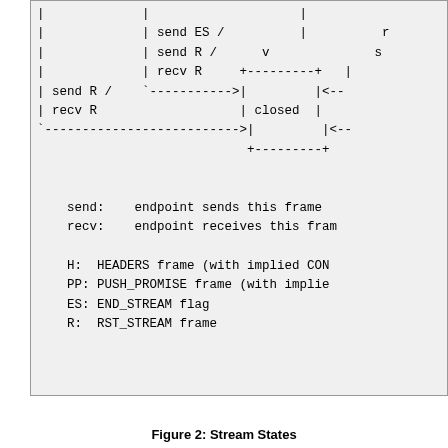[Figure (schematic): Stream state diagram (partial view) showing state transitions with send/recv actions including ES, R labels, a 'closed' state box, and dashed arrows. Legend below explains send/recv/H/PP/ES/R abbreviations.]
Figure 2: Stream States